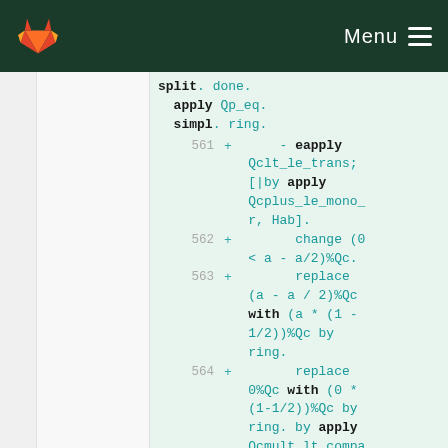Menu
split. done.
apply Qp_eq.
simpl. ring.
561 +   - eapply Qclt_le_trans; [|by apply Qcplus_le_mono_r, Hab].
562 +       change (0 < a - a/2)%Qc.
563 +       replace (a - a / 2)%Qc with (a * (1 - 1/2))%Qc by ring.
564 +       replace 0%Qc with (0 * (1-1/2))%Qc by ring. by apply Qcmult_lt_compa...